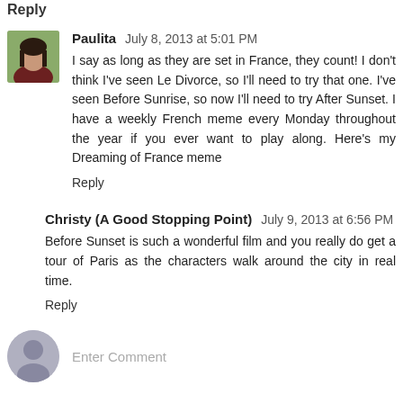Reply
Paulita   July 8, 2013 at 5:01 PM
I say as long as they are set in France, they count! I don't think I've seen Le Divorce, so I'll need to try that one. I've seen Before Sunrise, so now I'll need to try After Sunset. I have a weekly French meme every Monday throughout the year if you ever want to play along. Here's my Dreaming of France meme
Reply
Christy (A Good Stopping Point)   July 9, 2013 at 6:56 PM
Before Sunset is such a wonderful film and you really do get a tour of Paris as the characters walk around the city in real time.
Reply
Enter Comment